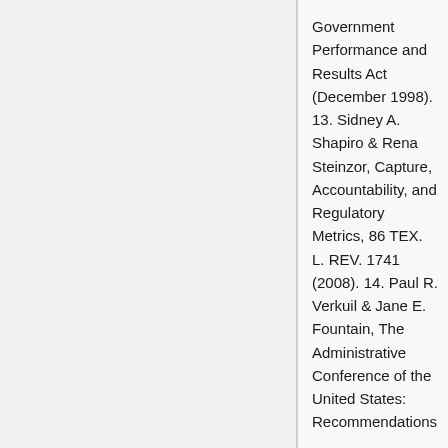Government Performance and Results Act (December 1998). 13. Sidney A. Shapiro & Rena Steinzor, Capture, Accountability, and Regulatory Metrics, 86 TEX. L. REV. 1741 (2008). 14. Paul R. Verkuil & Jane E. Fountain, The Administrative Conference of the United States: Recommendations